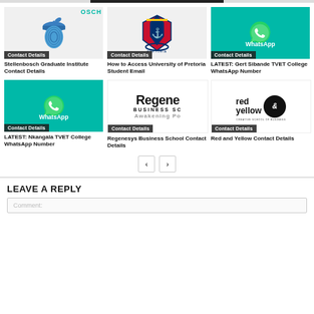[Figure (screenshot): Top navigation bar partial]
[Figure (illustration): Stellenbosch Graduate Institute logo (acorn) with Contact Details badge]
Stellenbosch Graduate Institute Contact Details
[Figure (illustration): University of Pretoria crest with Contact Details badge]
How to Access University of Pretoria Student Email
[Figure (illustration): WhatsApp icon on teal background with Contact Details badge]
LATEST: Gert Sibande TVET College WhatsApp Number
[Figure (illustration): WhatsApp icon on teal background with Contact Details badge]
LATEST: Nkangala TVET College WhatsApp Number
[Figure (illustration): Regenesys Business School logo with Contact Details badge]
Regenesys Business School Contact Details
[Figure (logo): Red and Yellow Creative School of Business logo with Contact Details badge]
Red and Yellow Contact Details
LEAVE A REPLY
Comment: